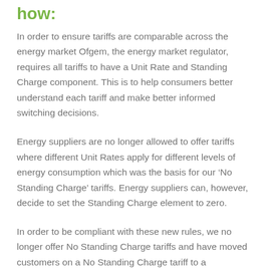how:
In order to ensure tariffs are comparable across the energy market Ofgem, the energy market regulator, requires all tariffs to have a Unit Rate and Standing Charge component. This is to help consumers better understand each tariff and make better informed switching decisions.
Energy suppliers are no longer allowed to offer tariffs where different Unit Rates apply for different levels of energy consumption which was the basis for our ‘No Standing Charge’ tariffs. Energy suppliers can, however, decide to set the Standing Charge element to zero.
In order to be compliant with these new rules, we no longer offer No Standing Charge tariffs and have moved customers on a No Standing Charge tariff to a